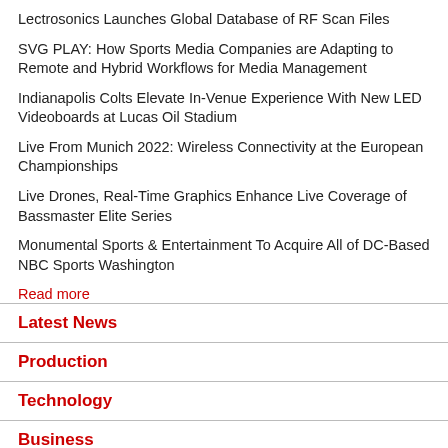Lectrosonics Launches Global Database of RF Scan Files
SVG PLAY: How Sports Media Companies are Adapting to Remote and Hybrid Workflows for Media Management
Indianapolis Colts Elevate In-Venue Experience With New LED Videoboards at Lucas Oil Stadium
Live From Munich 2022: Wireless Connectivity at the European Championships
Live Drones, Real-Time Graphics Enhance Live Coverage of Bassmaster Elite Series
Monumental Sports & Entertainment To Acquire All of DC-Based NBC Sports Washington
Read more
Latest News
Production
Technology
Business
College